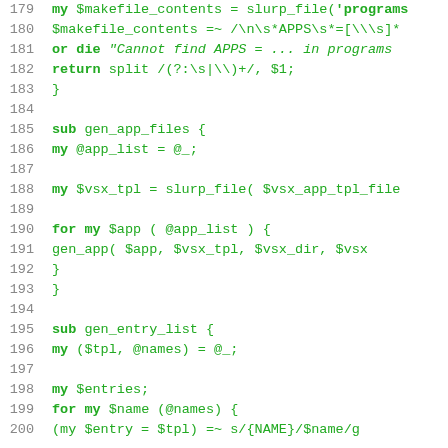[Figure (screenshot): Source code screenshot showing Perl code, lines 179-200, with green monospace text on white background. Line numbers in gray on left. Code shows subroutines gen_app_files and gen_entry_list.]